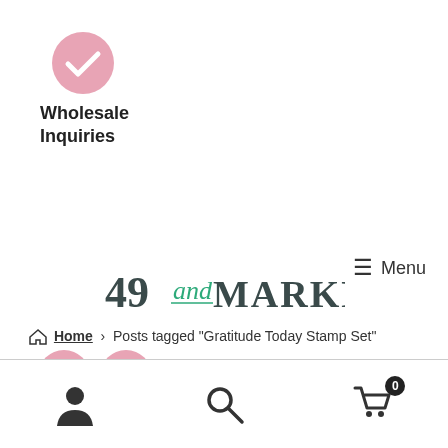[Figure (logo): Pink circle with white checkmark icon for Wholesale Inquiries]
Wholesale Inquiries
[Figure (logo): 49 and MARKET logo in dark teal/grey serif font with cursive 'and' in green]
[Figure (infographic): Four pink circle icons: search, shopping cart, user/account, and help/question mark]
≡ Menu
Home › Posts tagged "Gratitude Today Stamp Set"
[Figure (infographic): Bottom navigation bar with user, search, and shopping cart (0) icons]